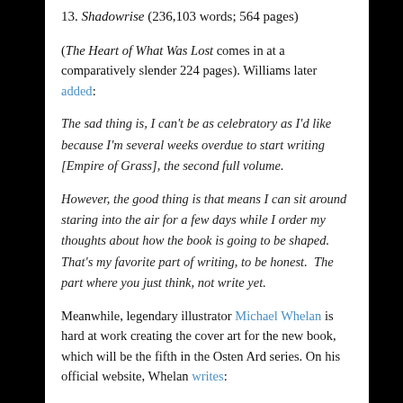13. Shadowrise (236,103 words; 564 pages)
(The Heart of What Was Lost comes in at a comparatively slender 224 pages). Williams later added:
The sad thing is, I can’t be as celebratory as I’d like because I’m several weeks overdue to start writing [Empire of Grass], the second full volume.
However, the good thing is that means I can sit around staring into the air for a few days while I order my thoughts about how the book is going to be shaped.  That’s my favorite part of writing, to be honest.  The part where you just think, not write yet.
Meanwhile, legendary illustrator Michael Whelan is hard at work creating the cover art for the new book, which will be the fifth in the Osten Ard series. On his official website, Whelan writes:
I’ve been painting a LOT of weird trees lately for the new Osten Ard Trilogy, trying to come up with a design idea that Tad…